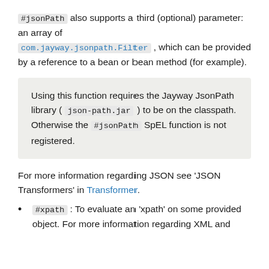#jsonPath also supports a third (optional) parameter: an array of com.jayway.jsonpath.Filter , which can be provided by a reference to a bean or bean method (for example).
Using this function requires the Jayway JsonPath library ( json-path.jar ) to be on the classpath. Otherwise the #jsonPath SpEL function is not registered.
For more information regarding JSON see 'JSON Transformers' in Transformer.
#xpath : To evaluate an 'xpath' on some provided object. For more information regarding XML and